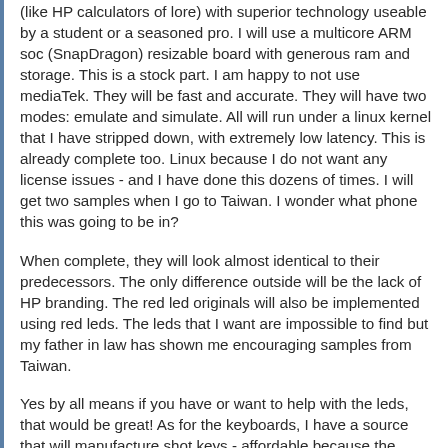(like HP calculators of lore) with superior technology useable by a student or a seasoned pro. I will use a multicore ARM soc (SnapDragon) resizable board with generous ram and storage. This is a stock part. I am happy to not use mediaTek. They will be fast and accurate. They will have two modes: emulate and simulate. All will run under a linux kernel that I have stripped down, with extremely low latency. This is already complete too. Linux because I do not want any license issues - and I have done this dozens of times. I will get two samples when I go to Taiwan. I wonder what phone this was going to be in?
When complete, they will look almost identical to their predecessors. The only difference outside will be the lack of HP branding. The red led originals will also be implemented using red leds. The leds that I want are impossible to find but my father in law has shown me encouraging samples from Taiwan.
Yes by all means if you have or want to help with the leds, that would be great! As for the keyboards, I have a source that will manufacture shot keys - affordable because the dealer wants to make some for himself. I do need help in getting that HP or better than HP key press! I am no ME.. When I make the keys, I will not have more than three sizes (economics) so a large enter key and two other sizes. I will need to standardize on a font set. This I feel will be hard. One or two functions on the key and one or two